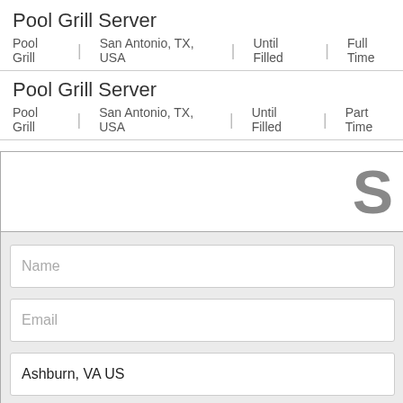Pool Grill Server
Pool Grill | San Antonio, TX, USA | Until Filled | Full Time
Pool Grill Server
Pool Grill | San Antonio, TX, USA | Until Filled | Part Time
[Figure (screenshot): Modal form with Name, Email, Ashburn VA US location fields, checkbox for terms of service and privacy policy agreement]
Name
Email
Ashburn, VA US
I agree to the terms of service and privacy policy.